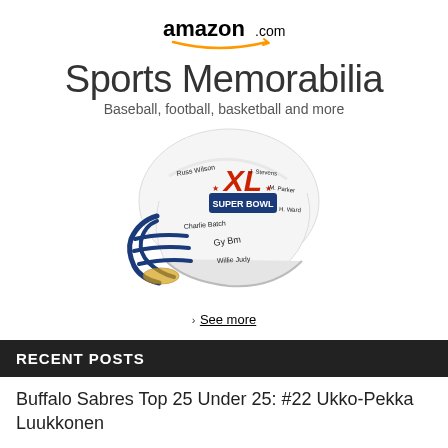[Figure (logo): Amazon.com logo with orange smile arrow beneath bold 'amazon' text and '.com' in smaller weight]
Sports Memorabilia
Baseball, football, basketball and more
[Figure (photo): A white football helmet with blue facemask signed by multiple players, featuring a Super Bowl XL logo in red and blue]
> See more
RECENT POSTS
Buffalo Sabres Top 25 Under 25: #22 Ukko-Pekka Luukkonen